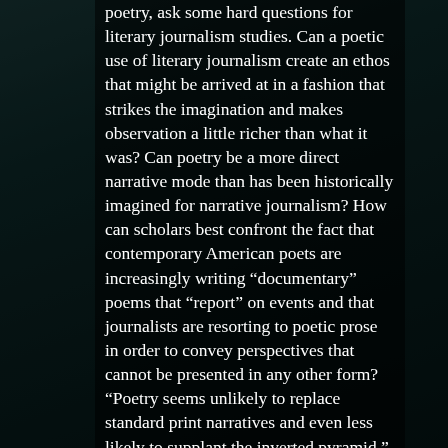poetry, ask some hard questions for literary journalism studies. Can a poetic use of literary journalism create an ethos that might be arrived at in a fashion that strikes the imagination and makes observation a little richer than what it was? Can poetry be a more direct narrative mode than has been historically imagined for narrative journalism? How can scholars best confront the fact that contemporary American poets are increasingly writing “documentary” poems that “report” on events and that journalists are resorting to poetic prose in order to convey perspectives that cannot be presented in any other form?  “Poetry seems unlikely to replace standard print narratives and even less likely to supplant the inverted pyramid,” as Pitzer argues, but “the future of poetry and the future of news” may be intertwined more tightly than critics have previously recognized. Not static or universal but